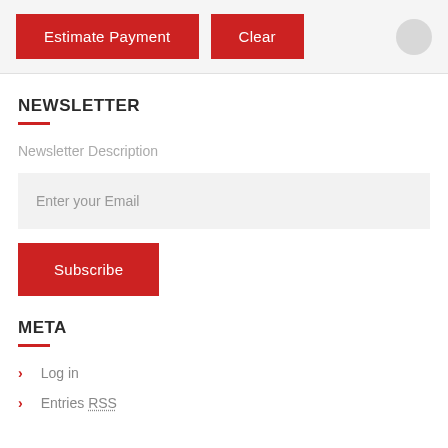Estimate Payment | Clear
NEWSLETTER
Newsletter Description
Enter your Email
Subscribe
META
Log in
Entries RSS